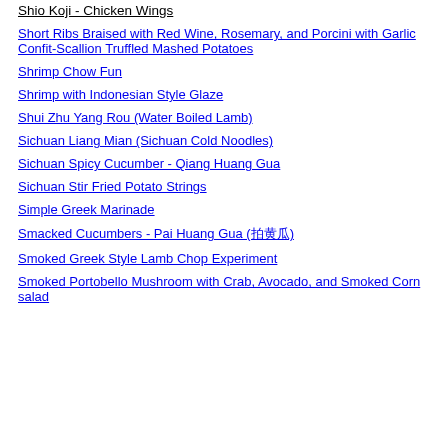Shio Koji - Chicken Wings
Short Ribs Braised with Red Wine, Rosemary, and Porcini with Garlic Confit-Scallion Truffled Mashed Potatoes
Shrimp Chow Fun
Shrimp with Indonesian Style Glaze
Shui Zhu Yang Rou (Water Boiled Lamb)
Sichuan Liang Mian (Sichuan Cold Noodles)
Sichuan Spicy Cucumber - Qiang Huang Gua
Sichuan Stir Fried Potato Strings
Simple Greek Marinade
Smacked Cucumbers - Pai Huang Gua (拍黄瓜)
Smoked Greek Style Lamb Chop Experiment
Smoked Portobello Mushroom with Crab, Avocado, and Smoked Corn salad